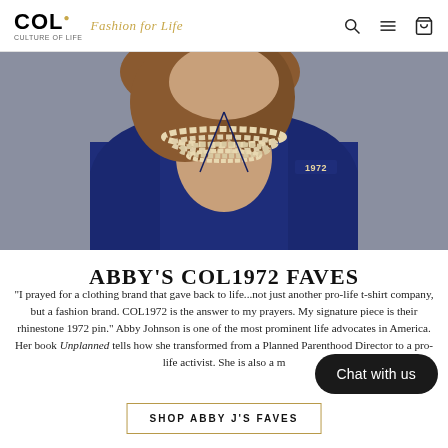COL. Fashion for Life | CULTURE OF LIFE
[Figure (photo): Photo of a woman wearing a navy blue blazer with a pearl necklace and a '1972' rhinestone pin on her lapel. The background is grey. Only the torso and lower face/hair are visible.]
ABBY'S COL1972 FAVES
"I prayed for a clothing brand that gave back to life...not just another pro-life t-shirt company, but a fashion brand. COL1972 is the answer to my prayers. My signature piece is their rhinestone 1972 pin." Abby Johnson is one of the most prominent life advocates in America. Her book Unplanned tells how she transformed from a Planned Parenthood Director to a pro-life activist. She is also a m...
Chat with us
SHOP ABBY J'S FAVES